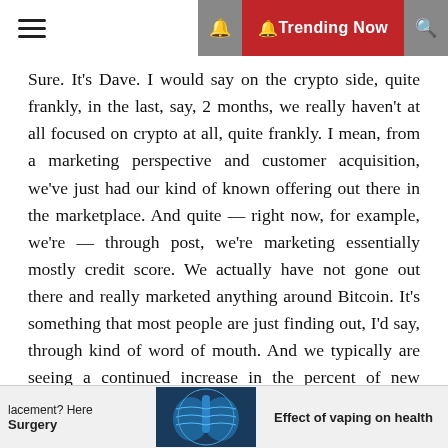☰  🔔 Trending Now 🔍
Sure. It's Dave. I would say on the crypto side, quite frankly, in the last, say, 2 months, we really haven't at all focused on crypto at all, quite frankly. I mean, from a marketing perspective and customer acquisition, we've just had our kind of known offering out there in the marketplace. And quite — right now, for example, we're — through post, we're marketing essentially mostly credit score. We actually have not gone out there and really marketed anything around Bitcoin. It's something that most people are just finding out, I'd say, through kind of word of mouth. And we typically are seeing a continued increase in the percent of new members that are signing up that are activating the Bitcoin account and buying Bitcoin.
And as I mentioned, similar to, I think, the Square Cash
lacement? Here Surgery  Effect of vaping on health